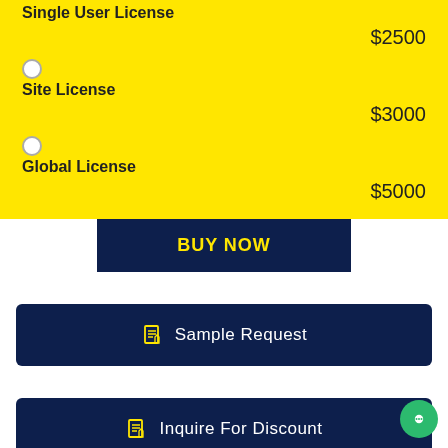Single User License
$2500
Site License
$3000
Global License
$5000
BUY NOW
Sample Request
Inquire For Discount